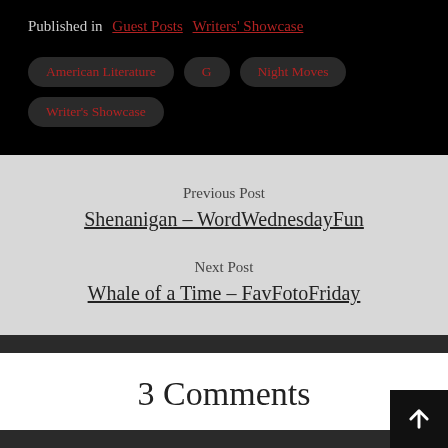Published in  Guest Posts  Writers' Showcase
American Literature
G
Night Moves
Writer's Showcase
Previous Post
Shenanigan – WordWednesdayFun
Next Post
Whale of a Time – FavFotoFriday
3 Comments